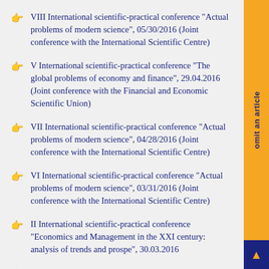VIII International scientific-practical conference "Actual problems of modern science", 05/30/2016 (Joint conference with the International Scientific Centre)
V International scientific-practical conference "The global problems of economy and finance", 29.04.2016 (Joint conference with the Financial and Economic Scientific Union)
VII International scientific-practical conference "Actual problems of modern science", 04/28/2016 (Joint conference with the International Scientific Centre)
VI International scientific-practical conference "Actual problems of modern science", 03/31/2016 (Joint conference with the International Scientific Centre)
II International scientific-practical conference "Economics and Management in the XXI century: analysis of trends and prospe", 30.03.2016
V International Scientific-Practical Conference